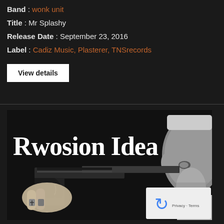Band : wonk unit
Title : Mr Splashy
Release Date : September 23, 2016
Label : Cadiz Music, Plasterer, TNSrecords
View details
[Figure (photo): Black and white album cover image showing large serif text 'Rwosion Idea' with a person holding a gun pointed at a man's face, with a reCAPTCHA overlay in the bottom right corner.]